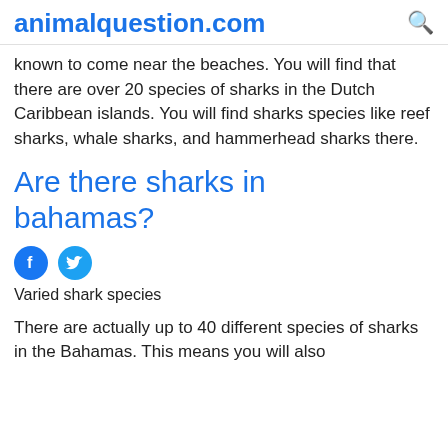animalquestion.com
known to come near the beaches. You will find that there are over 20 species of sharks in the Dutch Caribbean islands. You will find sharks species like reef sharks, whale sharks, and hammerhead sharks there.
Are there sharks in bahamas?
[Figure (other): Social media share buttons: Facebook and Twitter circular icons]
Varied shark species
There are actually up to 40 different species of sharks in the Bahamas. This means you will also